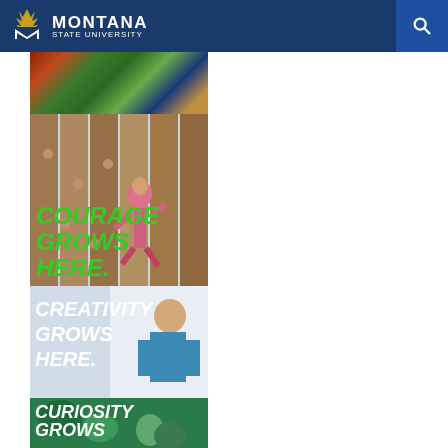Montana State University
[Figure (photo): Top image panel showing hands with food items and produce on a blue surface]
[Figure (photo): Photo of a girl climbing a wooden wall with large green italic text overlay reading COURAGE GROWS HERE.]
[Figure (photo): Photo of a girl smiling with large white italic text overlay reading CREATIVITY GROWS HERE.]
[Figure (photo): Photo of a girl smiling in teal shirt with large white italic text overlay reading CURIOSITY GROWS HERE.]